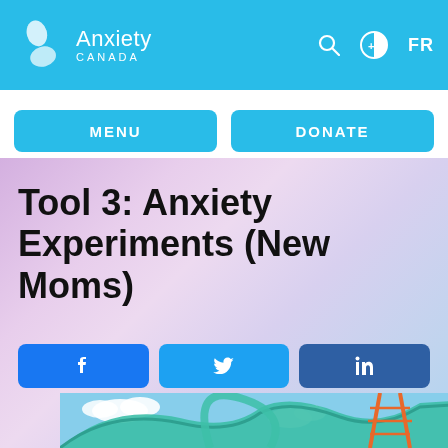Anxiety Canada
MENU
DONATE
Tool 3: Anxiety Experiments (New Moms)
[Figure (screenshot): Screenshot of Anxiety Canada website showing the header with logo, navigation buttons (MENU, DONATE), article title 'Tool 3: Anxiety Experiments (New Moms)', social share buttons for Facebook, Twitter, and LinkedIn, and a partial image of a roller coaster at the bottom.]